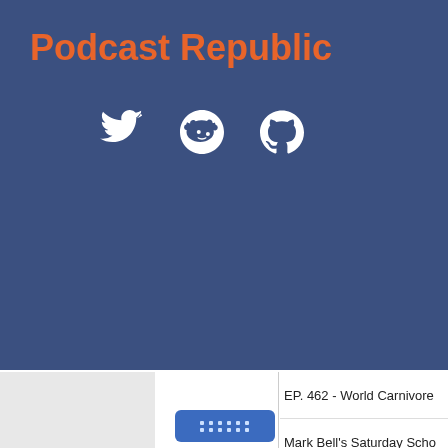Podcast Republic
[Figure (illustration): Social media icons: Twitter bird, Reddit alien, GitHub octocat — white on blue background]
EP. 462 - World Carnivore
Mark Bell's Saturday Scho
EP. 461 - End Of The Yea